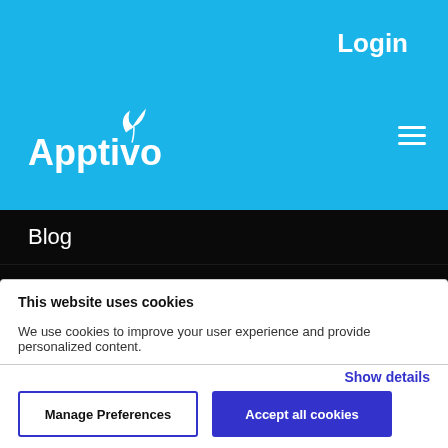Login
[Figure (logo): Apptivo logo with leaf icon on blue background]
Blog
Partners Program
Careers
Terms of Service
Privacy Policy
Data Security
This website uses cookies
We use cookies to improve your user experience and provide personalized content.
Show details
Manage Preferences
Accept all cookies